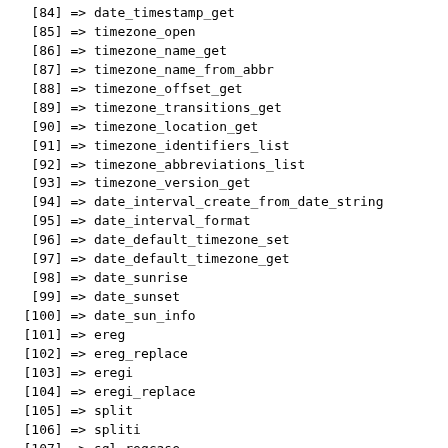[84] => date_timestamp_get
[85] => timezone_open
[86] => timezone_name_get
[87] => timezone_name_from_abbr
[88] => timezone_offset_get
[89] => timezone_transitions_get
[90] => timezone_location_get
[91] => timezone_identifiers_list
[92] => timezone_abbreviations_list
[93] => timezone_version_get
[94] => date_interval_create_from_date_string
[95] => date_interval_format
[96] => date_default_timezone_set
[97] => date_default_timezone_get
[98] => date_sunrise
[99] => date_sunset
[100] => date_sun_info
[101] => ereg
[102] => ereg_replace
[103] => eregi
[104] => eregi_replace
[105] => split
[106] => spliti
[107] => sql_regcase
[108] => libxml_set_streams_context
[109] => libxml_use_internal_errors
[110] => libxml_get_last_error
[111] => libxml_clear_errors
[112] => libxml_get_errors
[113] => libxml_disable_entity_loader